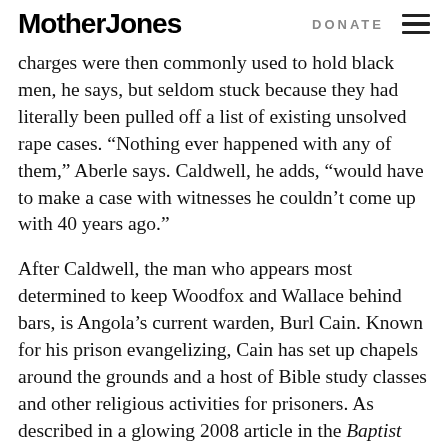Mother Jones | DONATE
charges were then commonly used to hold black men, he says, but seldom stuck because they had literally been pulled off a list of existing unsolved rape cases. “Nothing ever happened with any of them,” Aberle says. Caldwell, he adds, “would have to make a case with witnesses he couldn’t come up with 40 years ago.”
After Caldwell, the man who appears most determined to keep Woodfox and Wallace behind bars, is Angola’s current warden, Burl Cain. Known for his prison evangelizing, Cain has set up chapels around the grounds and a host of Bible study classes and other religious activities for prisoners. As described in a glowing 2008 article in the Baptist